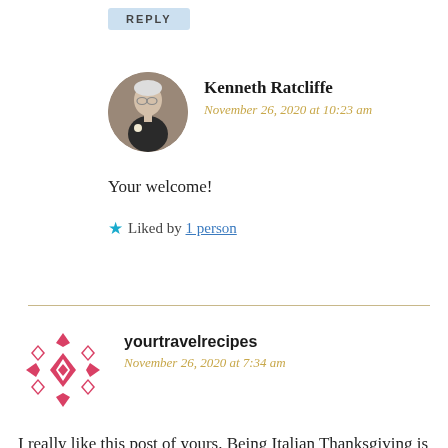REPLY
Kenneth Ratcliffe
November 26, 2020 at 10:23 am
Your welcome!
★ Liked by 1 person
yourtravelrecipes
November 26, 2020 at 7:34 am
I really like this post of yours. Being Italian Thanksgiving is not in my cultural tradition but I